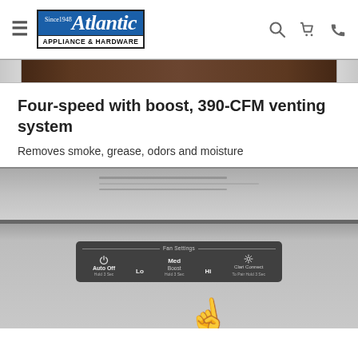Atlantic Appliance & Hardware — Since 1948
[Figure (photo): Top portion of a stainless steel range hood appliance, cropped view]
Four-speed with boost, 390-CFM venting system
Removes smoke, grease, odors and moisture
[Figure (photo): Close-up of stainless steel range hood showing fan control panel with buttons: Auto Off/Hold 3 Sec (power icon), Lo, Med/Boost/Hold 3 Sec, Hi, and Clari Connect/To Pair Hold 3 Sec (light icon). A finger is pressing the Med/Boost button.]